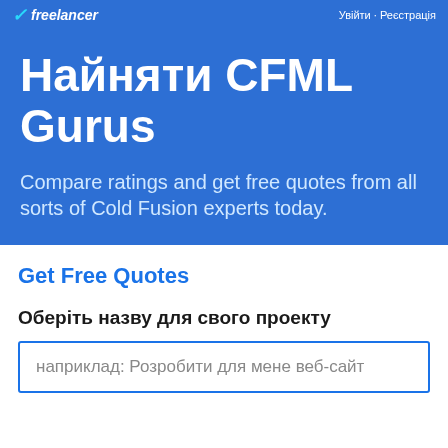freelancer   Увійти · Реєстрація
Найняти CFML Gurus
Compare ratings and get free quotes from all sorts of Cold Fusion experts today.
Get Free Quotes
Оберіть назву для свого проекту
наприклад: Розробити для мене веб-сайт